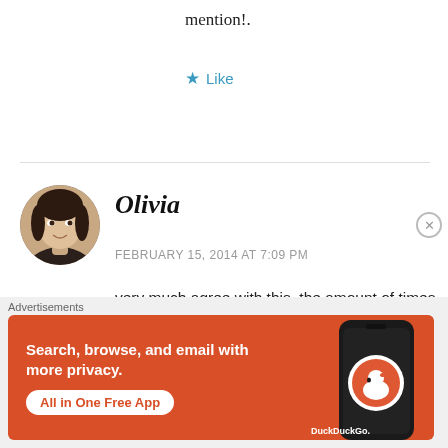mention!.
★ Like
[Figure (photo): Circular avatar photo of a young woman with dark hair, smiling]
Olivia
FEBRUARY 15, 2014 AT 7:09 PM
very much agree with this, the amount of times i have fallen for a boy/man in a book is actually
Advertisements
[Figure (infographic): DuckDuckGo advertisement banner on orange background. Text: Search, browse, and email with more privacy. All in One Free App. DuckDuckGo logo with phone graphic.]